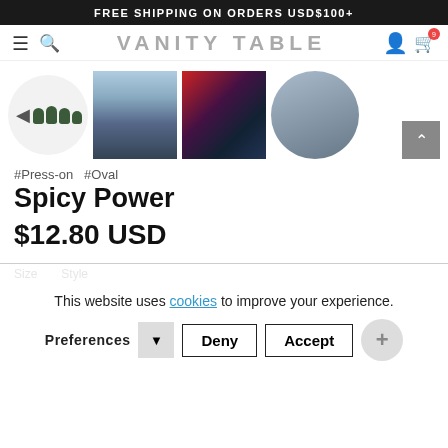FREE SHIPPING ON ORDERS USD$100+
VANITY TABLE
[Figure (photo): Product gallery showing press-on nails set in dark green/black, model photos in athletic wear, close-up of nails, and fisheye outdoor photo]
#Press-on  #Oval
Spicy Power
$12.80 USD
This website uses cookies to improve your experience.
Preferences  Deny  Accept